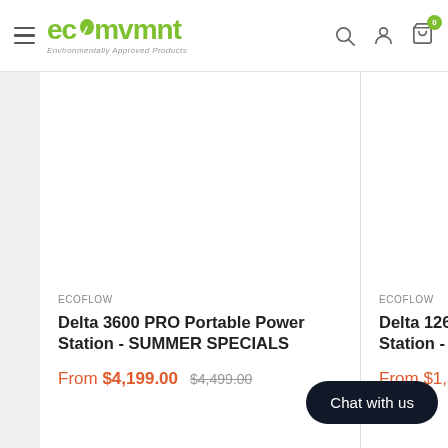ecomvmnt — Environmentally Approved Products
[Figure (photo): Product image area for Delta 3600 PRO Portable Power Station (white background, partially visible)]
ECOFLOW
Delta 3600 PRO Portable Power Station - SUMMER SPECIALS
From $4,199.00  $4,499.00
[Figure (photo): Product image area for Delta 1260 Portable Power Station (white background, partially visible)]
ECOFLOW
Delta 1260 Portable Power Station - SUMMER SPECIALS (partially visible)
From $1,399.00 (partially visible)